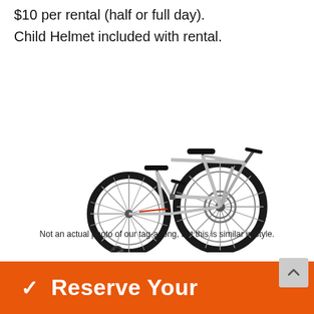$10 per rental (half or full day).
Child Helmet included with rental.
[Figure (photo): A tag-a-long bicycle attachment — a child's half-bike that connects to an adult bike rear axle, silver/chrome colored with black wheels and seats, shown from the side.]
Not an actual photo of our tag-a-long, but this is similar in style.
Reserve Your